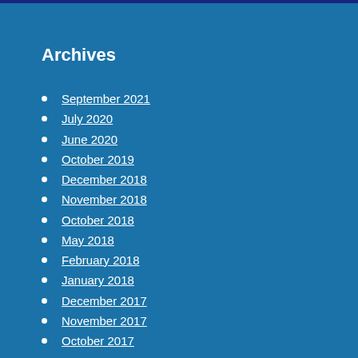Archives
September 2021
July 2020
June 2020
October 2019
December 2018
November 2018
October 2018
May 2018
February 2018
January 2018
December 2017
November 2017
October 2017